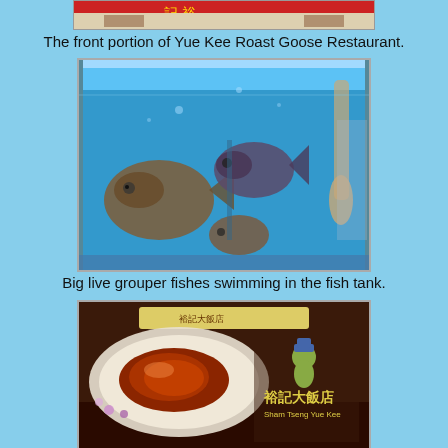[Figure (photo): Top portion of Yue Kee Roast Goose Restaurant exterior, partial view]
The front portion of Yue Kee Roast Goose Restaurant.
[Figure (photo): Big live grouper fishes swimming in a fish tank with blue water illuminated by lights]
Big live grouper fishes swimming in the fish tank.
[Figure (photo): Restaurant menu cover showing roast goose dish on a plate and the restaurant logo with Chinese characters 裕記大飯店 and text Sham Tseng Yue Kee]